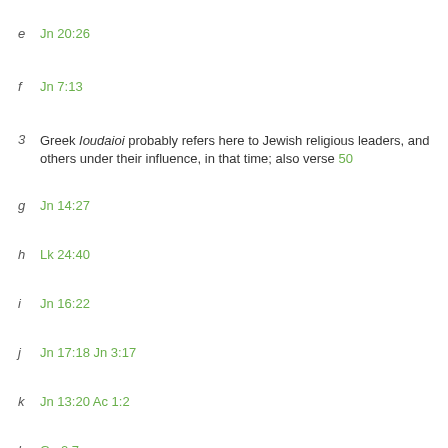e  Jn 20:26
f  Jn 7:13
3  Greek Ioudaioi probably refers here to Jewish religious leaders, and others under their influence, in that time; also verse 50
g  Jn 14:27
h  Lk 24:40
i  Jn 16:22
j  Jn 17:18 Jn 3:17
k  Jn 13:20 Ac 1:2
l  Ge 2:7